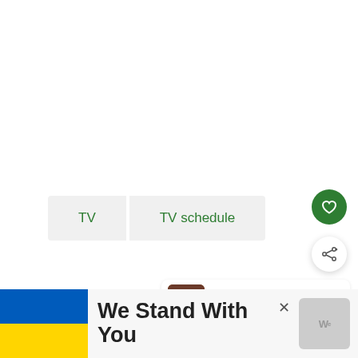[Figure (screenshot): Navigation buttons: TV and TV schedule in green text on light gray background]
[Figure (other): Heart/favorite button: green circle with white heart icon]
[Figure (other): Share button: white circle with share icon]
[Figure (other): What's Next panel: thumbnail image with label WHAT'S NEXT and text September 2022 TV and...]
[Figure (other): Advertisement banner: Ukrainian flag (blue and yellow), text We Stand With You, close button, and logo]